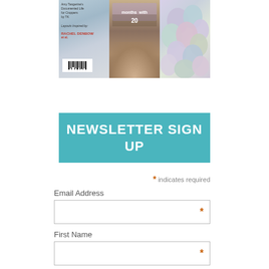[Figure (photo): Magazine or book cover collage showing a purple/lavender colored book cover on the left with text 'Amy Tangerine's' and author name 'RACHEL DENBOW', a wooden bowl with purple salt/bath beads in the middle, and pastel colored Easter eggs on the right]
NEWSLETTER SIGN UP
* indicates required
Email Address
* (field)
First Name
* (field)
Last Name
(field)